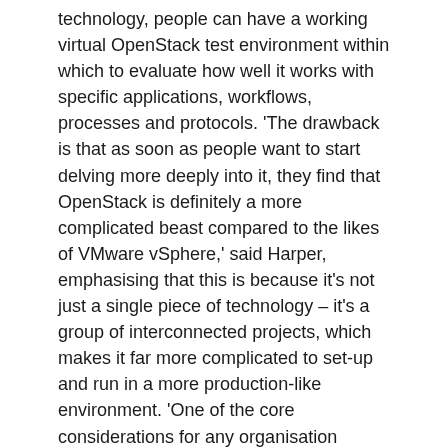technology, people can have a working virtual OpenStack test environment within which to evaluate how well it works with specific applications, workflows, processes and protocols. 'The drawback is that as soon as people want to start delving more deeply into it, they find that OpenStack is definitely a more complicated beast compared to the likes of VMware vSphere,' said Harper, emphasising that this is because it's not just a single piece of technology – it's a group of interconnected projects, which makes it far more complicated to set-up and run in a more production-like environment. 'One of the core considerations for any organisation looking to deploy OpenStack is whether they have the relevant skills in-house, or whether they'll need to work with an external organisation. These skilled people are very much in demand as there aren't many true OpenStack experts out there, particularly in the UK, and there are lots of organisations interested in their services.'
Within traditional HPC environments, should an organisation want to run a specific application on an environment different to the currently deployed operating system, it becomes far